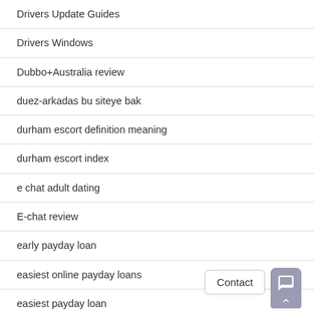Drivers Update Guides
Drivers Windows
Dubbo+Australia review
duez-arkadas bu siteye bak
durham escort definition meaning
durham escort index
e chat adult dating
E-chat review
early payday loan
easiest online payday loans
easiest payday loan
easiest payday loans
eastmeeteast adult dating